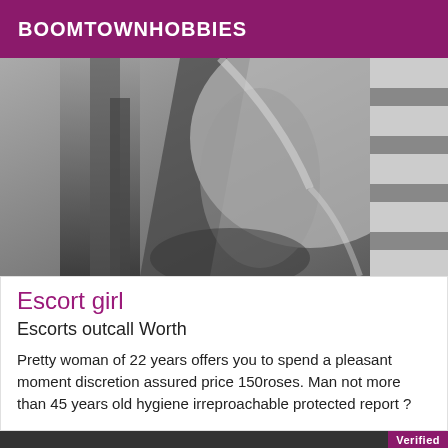BOOMTOWNHOBBIES
[Figure (photo): Black and white close-up photo of a woman's torso/chest area with long dark hair]
Escort girl
Escorts outcall Worth
Pretty woman of 22 years offers you to spend a pleasant moment discretion assured price 150roses. Man not more than 45 years old hygiene irreproachable protected report ?